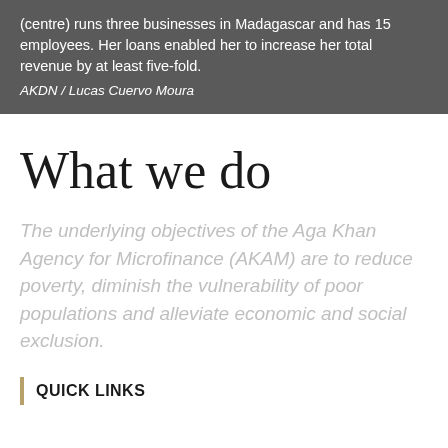(centre) runs three businesses in Madagascar and has 15 employees. Her loans enabled her to increase her total revenue by at least five-fold.
AKDN / Lucas Cuervo Moura
What we do
The underlying objectives of the Aga Khan Agency for Microfinance (AKAM) are to reduce poverty, diminish the vulnerability of poor populations and alleviate economic and social exclusion.
QUICK LINKS